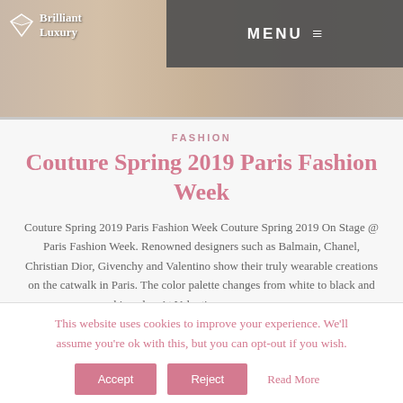[Figure (screenshot): Website header with Brilliant Luxury logo on left with diamond icon, and dark grey MENU bar with hamburger icon on right, over fashion photo background]
FASHION
Couture Spring 2019 Paris Fashion Week
Couture Spring 2019 Paris Fashion Week Couture Spring 2019 On Stage @ Paris Fashion Week. Renowned designers such as Balmain, Chanel, Christian Dior, Givenchy and Valentino show their truly wearable creations on the catwalk in Paris. The color palette changes from white to black and skin color. At Valentino you can more...
This website uses cookies to improve your experience. We'll assume you're ok with this, but you can opt-out if you wish.